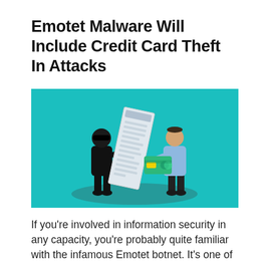Emotet Malware Will Include Credit Card Theft In Attacks
[Figure (illustration): Digital illustration on a teal/turquoise background. A figure dressed in black (thief/hacker) wearing a mask on the left side holds a large white document/screen that is tilted. On the right, a figure in a light blue shirt (victim) holds out a green credit card toward the thief. Both figures stand on a dark oval shadow on the ground.]
If you're involved in information security in any capacity, you're probably quite familiar with the infamous Emotet botnet. It's one of